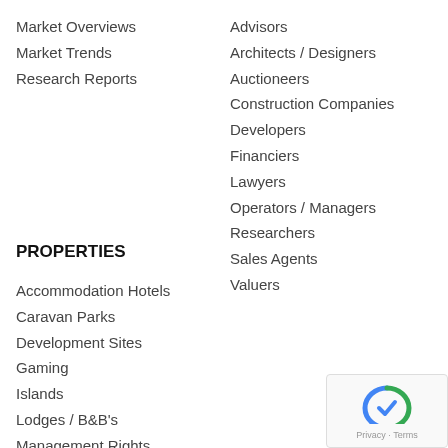Market Overviews
Market Trends
Research Reports
Advisors
Architects / Designers
Auctioneers
Construction Companies
Developers
Financiers
Lawyers
Operators / Managers
Researchers
Sales Agents
Valuers
PROPERTIES
Accommodation Hotels
Caravan Parks
Development Sites
Gaming
Islands
Lodges / B&B's
Management Rights
Motel
Pub / Tavern
Resorts
Sold